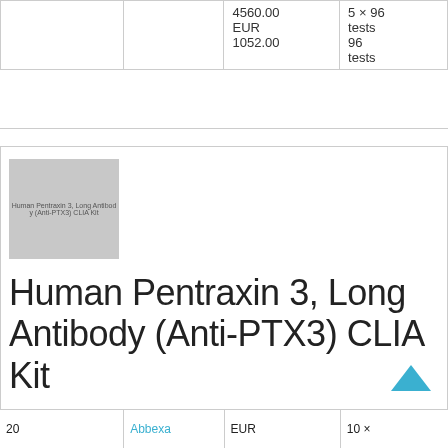|  |  | Price | Pack |
| --- | --- | --- | --- |
|  |  | 4560.00
EUR
1052.00 | 5 × 96 tests
96 tests |
[Figure (photo): Product image placeholder for Human Pentraxin 3 Long Antibody (Anti-PTX3) CLIA Kit with partial text label visible]
Human Pentraxin 3, Long Antibody (Anti-PTX3) CLIA Kit
|  |  | EUR | 10 × |
| --- | --- | --- | --- |
| 20 | Abbexa | EUR | 10 × |